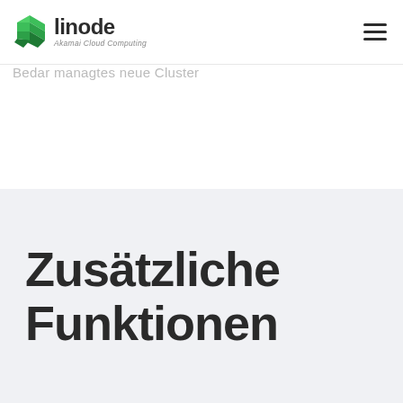linode – Akamai Cloud Computing
Bedar managtes neue Cluster
Zusätzliche Funktionen